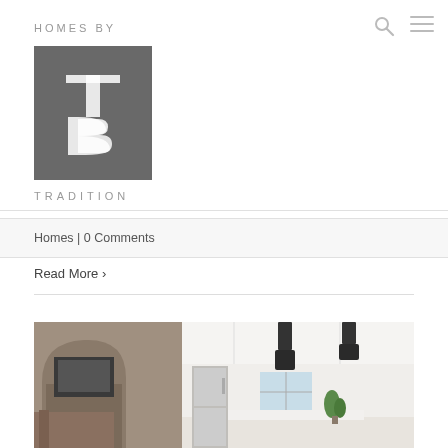HOMES BY TRADITION
Homes | 0 Comments
Read More >
[Figure (photo): Interior photo of a luxury kitchen with white cabinets, dark pendant lights, stainless steel refrigerator, stone arch with fireplace in background, marble countertops]